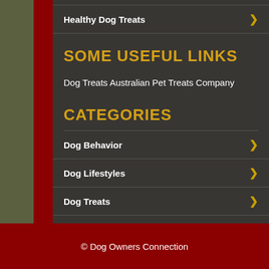Healthy Dog Treats
SOME USEFUL LINKS
Dog Treats Australian Pet Treats Company
CATEGORIES
Dog Behavior
Dog Lifestyles
Dog Treats
© Dog Owners Connection